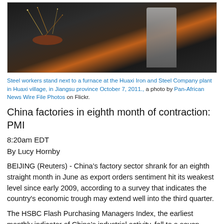[Figure (photo): Steel workers standing next to a furnace at a steel plant, black and white image with orange glow from the furnace]
Steel workers stand next to a furnace at the Huaxi Iron and Steel Company plant in Huaxi village, in Jiangsu province October 7, 2011., a photo by Pan-African News Wire File Photos on Flickr.
China factories in eighth month of contraction: PMI
8:20am EDT
By Lucy Hornby
BEIJING (Reuters) - China's factory sector shrank for an eighth straight month in June as export orders sentiment hit its weakest level since early 2009, according to a survey that indicates the country's economic trough may extend well into the third quarter.
The HSBC Flash Purchasing Managers Index, the earliest monthly indicator of China's industrial activity, fell to a seven-month low of 48.1 in June from a final reading of 48.4 in May.